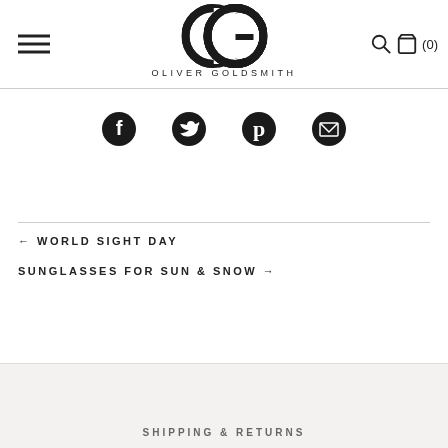Oliver Goldsmith — navigation header with hamburger menu and cart (0)
[Figure (logo): Oliver Goldsmith OG logo with interlocking letters and brand name below]
[Figure (infographic): Social share icons: Facebook, Twitter, Pinterest, Email]
← WORLD SIGHT DAY
SUNGLASSES FOR SUN & SNOW →
SHIPPING & RETURNS